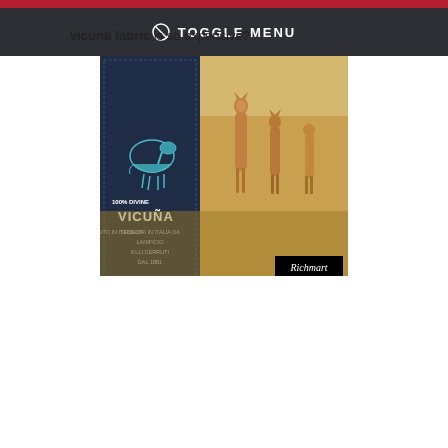TOGGLE MENU
[Figure (photo): Promotional image for vicuna fabric showing a fabric label on the left reading '100% DIVINE VICUÑA TESSUTO IN ITALIA DA LANIFICIO F.LLI CERRUTI DAL 1881' with a vicuna illustration, and real vicunas standing in a grassy field on the right. The word 'Richmart' appears in a black box at the bottom right. Above the image is the text 'vicuna fabric is so expensive?']